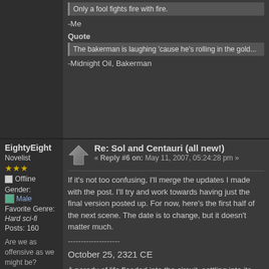Only a fool fights fire with fire.
-Me
Quote
The bakerman is laughing 'cause he's rolling in the gold...
-Midnight Oil, Bakerman
EightyEight
Novelist
Offline
Gender: Male
Favorite Genre: Hard sci-fi
Posts: 160
Are we as offensive as we might be?
View Profile
Badges: (View All)
Re: Sol and Centauri (all new!)
« Reply #6 on: May 11, 2007, 05:24:28 pm »
If it's not too confusing, I'll merge the updates I made with the post. I'll try and work towards having just the final version posted up. For now, here's the first half of the next scene. The date is to change, but it doesn't matter much.
--------------------
October 25, 2321 CE
A parody of life flooded into the circuit, settling into its established patterns and pathways. Sensors expanded and analysed its surroundings. The recorded stimuli and responses that passed as memories and experiences told it that it was in the ready room of Jovian Solar Critical Response/Assault barracks. The worldnet receiver in its heart linked itself to the local network, finding only a small system of nodes. Had it felt any emotions at all, it would have been vexed. Bringing its high-level sensors offline, it focused on its local surroundings. Two humans stood before it.